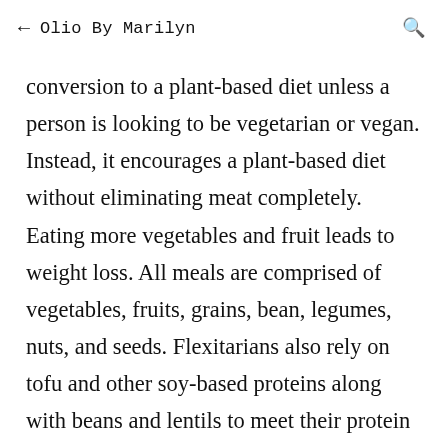← Olio By Marilyn 🔍
conversion to a plant-based diet unless a person is looking to be vegetarian or vegan. Instead, it encourages a plant-based diet without eliminating meat completely. Eating more vegetables and fruit leads to weight loss. All meals are comprised of vegetables, fruits, grains, bean, legumes, nuts, and seeds. Flexitarians also rely on tofu and other soy-based proteins along with beans and lentils to meet their protein needs. Followers are encouraged to avoid processed foods in favor of whole or minimally processed plant-based foods, typically lower in calories.